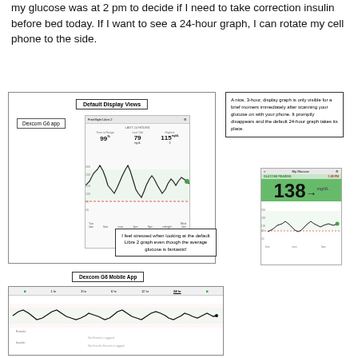my glucose was at 2 pm to decide if I need to take correction insulin before bed today. If I want to see a 24-hour graph, I can rotate my cell phone to the side.
[Figure (screenshot): Left panel showing Default Display Views including Dexcom G6 app label and Libre 2 glucose graph screenshot with stats (99, 79, 115 mg/dL). A callout says 'I feel stressed when looking at the default Libre 2 graph even though the average glucose is fantastic!']
[Figure (screenshot): Right annotation box explaining that a nice 3-hour display graph is only visible briefly after scanning glucose with phone, then disappears and the default 24-hour graph takes its place. Includes Dexcom G6 phone screenshot showing glucose reading of 138 with arrow and a 24-hour line graph below.]
[Figure (screenshot): Bottom section showing Dexcom G6 Mobile App with time selector tabs (1hr, 3hr, 6hr, 12hr, 24hr) and a continuous glucose line graph. Labels show Events, Insulin at the bottom.]